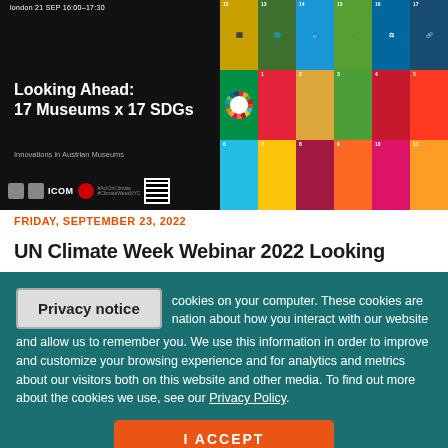[Figure (illustration): Event promotional image split into two panels: left black panel with white text 'Looking Ahead: 17 Museums x 17 SDGs – Innovations in Austrian Museums' with ICOM logos and QR code; right panel showing the UN Sustainable Development Goals colored grid with icons for all 17 SDGs.]
FRIDAY, SEPTEMBER 23, 2022
UN Climate Week Webinar 2022 Looking
Privacy notice
cookies on your computer. These cookies are nation about how you interact with our website and allow us to remember you. We use this information in order to improve and customize your browsing experience and for analytics and metrics about our visitors both on this website and other media. To find out more about the cookies we use, see our Privacy Policy.
I ACCEPT